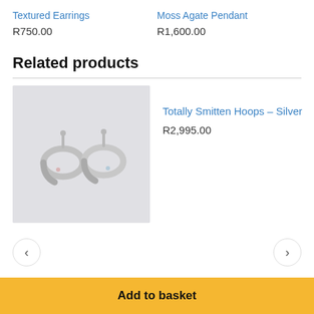Textured Earrings
R750.00
Moss Agate Pendant
R1,600.00
Related products
[Figure (photo): Two silver hoop earrings on a light grey background]
Totally Smitten Hoops – Silver
R2,995.00
Add to basket